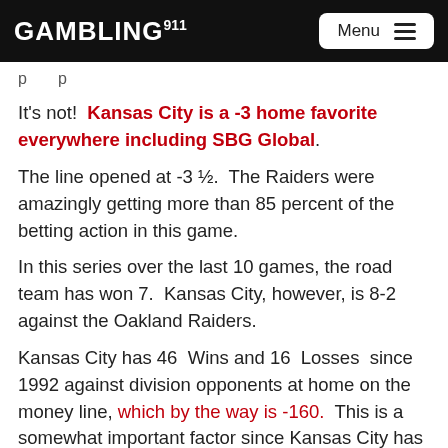GAMBLING911 Menu
It's not!  Kansas City is a -3 home favorite everywhere including SBG Global.
The line opened at -3 ½.  The Raiders were amazingly getting more than 85 percent of the betting action in this game.
In this series over the last 10 games, the road team has won 7.  Kansas City, however, is 8-2 against the Oakland Raiders.
Kansas City has 46  Wins and 16  Losses  since 1992 against division opponents at home on the money line, which by the way is -160.  This is a somewhat important factor since Kansas City has won by less than 3 points twice in its 8 wins over Oakland during their last 10 meetings.
The Raiders are 9-6-1 ATS in their last 7 games as a...